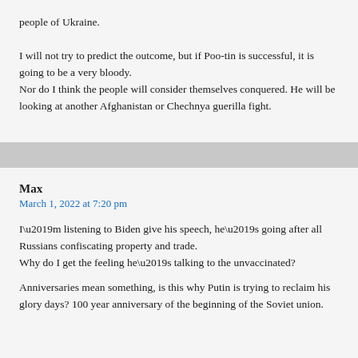people of Ukraine.

I will not try to predict the outcome, but if Poo-tin is successful, it is going to be a very bloody.
Nor do I think the people will consider themselves conquered. He will be looking at another Afghanistan or Chechnya guerilla fight.
Max
March 1, 2022 at 7:20 pm
I’m listening to Biden give his speech, he’s going after all Russians confiscating property and trade.
Why do I get the feeling he’s talking to the unvaccinated?
Anniversaries mean something, is this why Putin is trying to reclaim his glory days? 100 year anniversary of the beginning of the Soviet union.